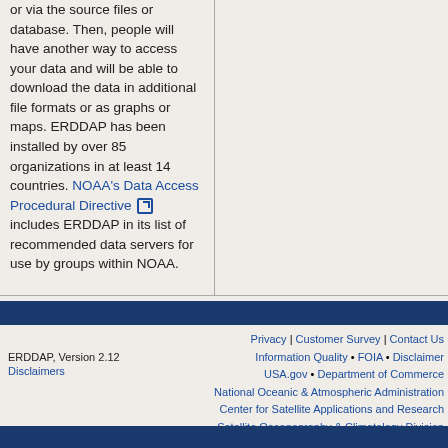or via the source files or database. Then, people will have another way to access your data and will be able to download the data in additional file formats or as graphs or maps. ERDDAP has been installed by over 85 organizations in at least 14 countries. NOAA's Data Access Procedural Directive [external link] includes ERDDAP in its list of recommended data servers for use by groups within NOAA.
Privacy | Customer Survey | Contact Us • Information Quality • FOIA • Disclaimer • USA.gov • Department of Commerce • National Oceanic & Atmospheric Administration • Center for Satellite Applications and Research • Satellite Oceanography & Climatology Division | ERDDAP, Version 2.12 | Disclaimers